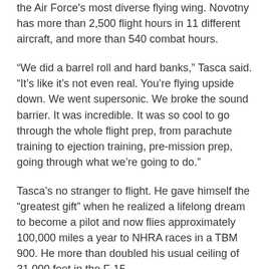the Air Force's most diverse flying wing. Novotny has more than 2,500 flight hours in 11 different aircraft, and more than 540 combat hours.
“We did a barrel roll and hard banks,” Tasca said. “It’s like it’s not even real. You’re flying upside down. We went supersonic. We broke the sound barrier. It was incredible. It was so cool to go through the whole flight prep, from parachute training to ejection training, pre-mission prep, going through what we’re going to do.”
Tasca’s no stranger to flight. He gave himself the “greatest gift” when he realized a lifelong dream to become a pilot and now flies approximately 100,000 miles a year to NHRA races in a TBM 900. He more than doubled his usual ceiling of 31,000 feet in the F-15.
“I’ve always been intrigued with aviation,” Tasca said. “Being in awe of the machines the Air Force flies, the